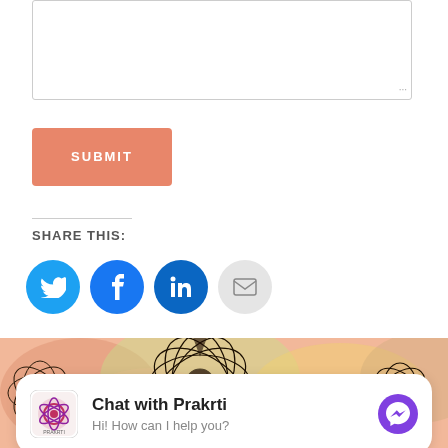[Figure (screenshot): Textarea input box with resize handle in bottom-right corner]
[Figure (screenshot): Submit button with salmon/orange color and white uppercase text]
SHARE THIS:
[Figure (infographic): Social sharing icons: Twitter (blue), Facebook (blue), LinkedIn (dark blue), Email (gray)]
[Figure (illustration): Decorative mandala/floral art banner with colorful watercolor background]
[Figure (screenshot): Chat widget: Chat with Prakrti - Hi! How can I help you? with Prakrti logo and Messenger icon]